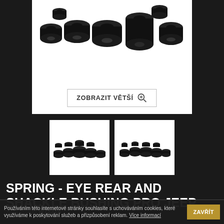[Figure (photo): Multiple black polyurethane bushing components of various sizes arranged on white background with 'ZOBRAZIT VĚTŠÍ' (show larger) zoom button overlay]
[Figure (photo): Two thumbnail images of the same black bushing set from a different angle]
SPRING - EYE REAR AND SHACKLE BUSHING PRO JEEP
Kód skladu W72318
Používáním této internetové stránky souhlasíte s uchováváním cookies, které využíváme k poskytování služeb a přizpůsobení reklam. Více informací